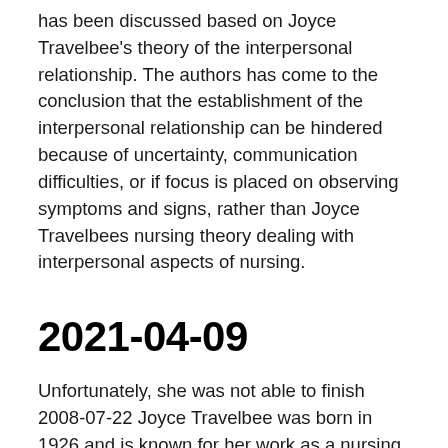has been discussed based on Joyce Travelbee's theory of the interpersonal relationship. The authors has come to the conclusion that the establishment of the interpersonal relationship can be hindered because of uncertainty, communication difficulties, or if focus is placed on observing symptoms and signs, rather than Joyce Travelbees nursing theory dealing with interpersonal aspects of nursing.
2021-04-09
Unfortunately, she was not able to finish 2008-07-22 Joyce Travelbee was born in 1926 and is known for her work as a nursing theorist. In 1956, Travelbee earned her Bachelor of Science in Nursing degree from Louisiana State University. She was given a